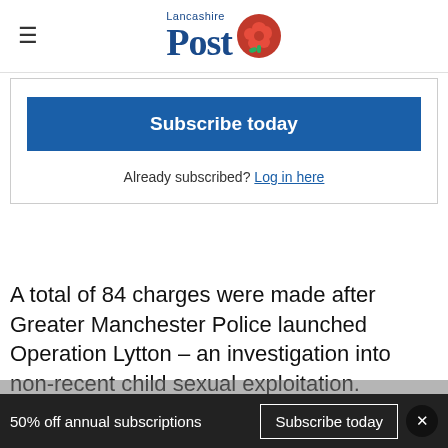Lancashire Post
Subscribe today
Already subscribed? Log in here
A total of 84 charges were made after Greater Manchester Police launched Operation Lytton – an investigation into non-recent child sexual exploitation.
50% off annual subscriptions   Subscribe today